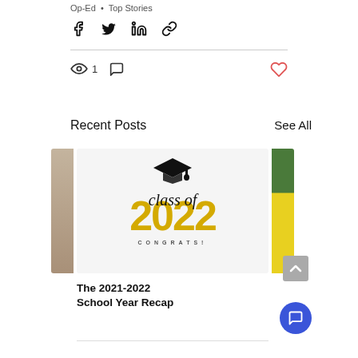Op-Ed · Top Stories
[Figure (infographic): Share bar icons: Facebook, Twitter, LinkedIn, link]
[Figure (infographic): Stats bar: eye icon with count 1, comment icon, heart icon (red outline)]
Recent Posts
See All
[Figure (photo): Left partial image of a book/desk scene]
[Figure (illustration): Class of 2022 CONGRATS! graduation image with gold numbers and mortarboard cap]
[Figure (photo): Right partial image of yellow flowers/daffodils]
The 2021-2022 School Year Recap